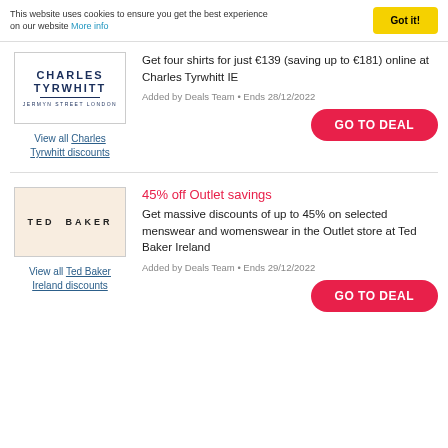This website uses cookies to ensure you get the best experience on our website More info
Got it!
[Figure (logo): Charles Tyrwhitt logo: dark blue text reading CHARLES TYRWHITT with JERMYN STREET LONDON below]
Get four shirts for just €139 (saving up to €181) online at Charles Tyrwhitt IE
View all Charles Tyrwhitt discounts
Added by Deals Team • Ends 28/12/2022
GO TO DEAL
[Figure (logo): Ted Baker logo: black text TED BAKER on cream/peach background]
45% off Outlet savings
Get massive discounts of up to 45% on selected menswear and womenswear in the Outlet store at Ted Baker Ireland
View all Ted Baker Ireland discounts
Added by Deals Team • Ends 29/12/2022
GO TO DEAL